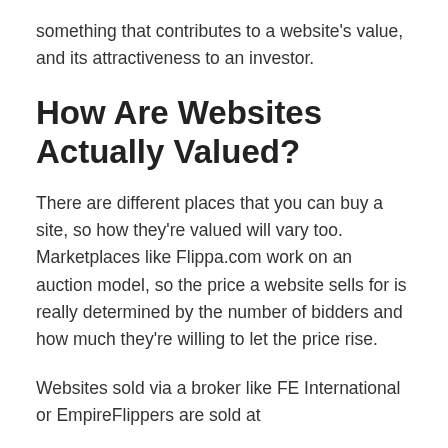something that contributes to a website's value, and its attractiveness to an investor.
How Are Websites Actually Valued?
There are different places that you can buy a site, so how they're valued will vary too. Marketplaces like Flippa.com work on an auction model, so the price a website sells for is really determined by the number of bidders and how much they're willing to let the price rise.
Websites sold via a broker like FE International or EmpireFlippers are sold at